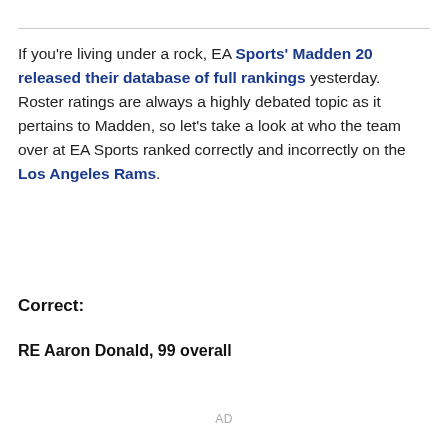If you're living under a rock, EA Sports' Madden 20 released their database of full rankings yesterday. Roster ratings are always a highly debated topic as it pertains to Madden, so let's take a look at who the team over at EA Sports ranked correctly and incorrectly on the Los Angeles Rams.
Correct:
RE Aaron Donald, 99 overall
AD